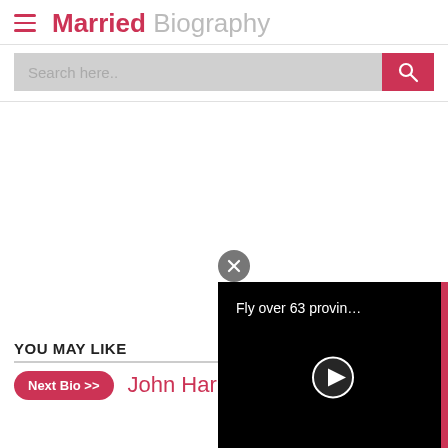Married Biography
Search here..
YOU MAY LIKE
Next Bio >> John Harbo...
[Figure (screenshot): Video player overlay showing 'Fly over 63 provin...' with a play button on black background, and a close button above it.]